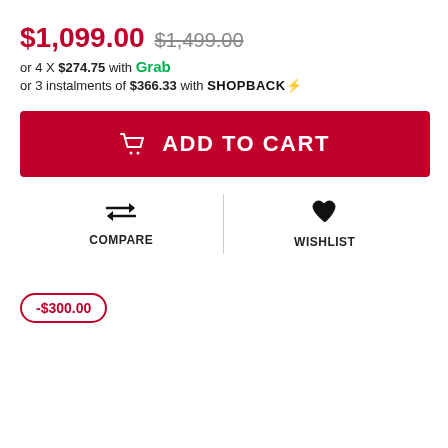$1,099.00 $1,499.00
or 4 X $274.75 with Grab
or 3 instalments of $366.33 with SHOPBACK⚡
ADD TO CART
COMPARE
WISHLIST
-$300.00